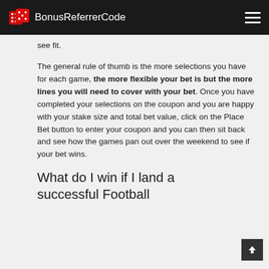BonusReferrerCode
see fit.
The general rule of thumb is the more selections you have for each game, the more flexible your bet is but the more lines you will need to cover with your bet. Once you have completed your selections on the coupon and you are happy with your stake size and total bet value, click on the Place Bet button to enter your coupon and you can then sit back and see how the games pan out over the weekend to see if your bet wins.
What do I win if I land a successful Football